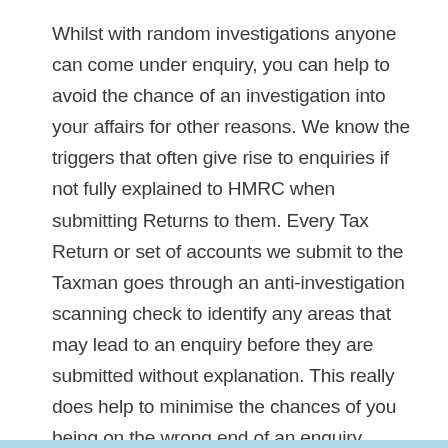Whilst with random investigations anyone can come under enquiry, you can help to avoid the chance of an investigation into your affairs for other reasons. We know the triggers that often give rise to enquiries if not fully explained to HMRC when submitting Returns to them. Every Tax Return or set of accounts we submit to the Taxman goes through an anti-investigation scanning check to identify any areas that may lead to an enquiry before they are submitted without explanation. This really does help to minimise the chances of you being on the wrong end of an enquiry.